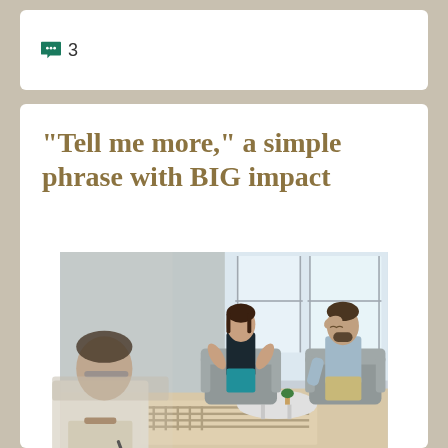💬 3
“Tell me more,” a simple phrase with BIG impact
[Figure (photo): A therapy or counseling session showing a woman in a teal dress gesturing expressively while speaking, a man sitting with his hand on his forehead looking stressed or distracted, and a therapist/counselor in the foreground (blurred) holding a clipboard and pen. The setting is a modern office with large windows and grey armchairs.]